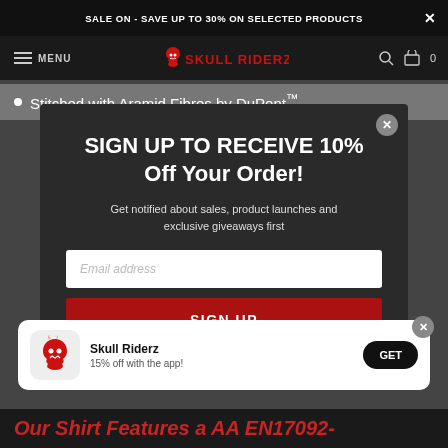SALE ON - SAVE UP TO 30% ON SELECTED PRODUCTS
[Figure (logo): Skull Riderz logo with flaming skull icon in red, text SKULL RIDERZ in red]
Stitched with Aramid Fibres by DuPont™
SIGN UP TO RECEIVE 10% Off Your Order!
Get notified about sales, product launches and exclusive giveaways first
Email address
SIGN UP
Skull Riderz
15% off with the app!
GET
Our Shirt Features a AA EN17092-